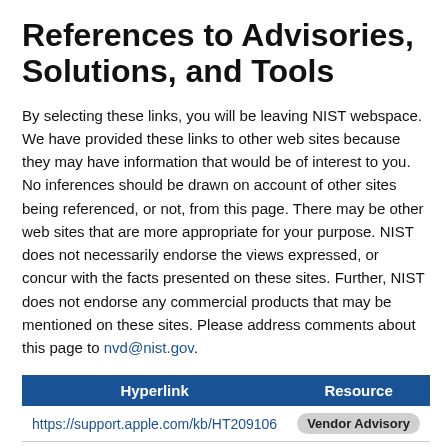References to Advisories, Solutions, and Tools
By selecting these links, you will be leaving NIST webspace. We have provided these links to other web sites because they may have information that would be of interest to you. No inferences should be drawn on account of other sites being referenced, or not, from this page. There may be other web sites that are more appropriate for your purpose. NIST does not necessarily endorse the views expressed, or concur with the facts presented on these sites. Further, NIST does not endorse any commercial products that may be mentioned on these sites. Please address comments about this page to nvd@nist.gov.
| Hyperlink | Resource |
| --- | --- |
| https://support.apple.com/kb/HT209106 | Vendor Advisory |
| https://support.apple.com/kb/HT209107 | Vendor Advisory |